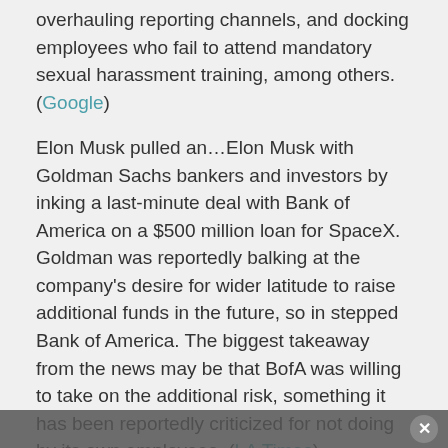overhauling reporting channels, and docking employees who fail to attend mandatory sexual harassment training, among others. (Google)
Elon Musk pulled an…Elon Musk with Goldman Sachs bankers and investors by inking a last-minute deal with Bank of America on a $500 million loan for SpaceX. Goldman was reportedly balking at the company's desire for wider latitude to raise additional funds in the future, so in stepped Bank of America. The biggest takeaway from the news may be that BofA was willing to take on the additional risk, something it has been reportedly criticized for not doing by its own employees. (LA Times)
In terms of job prospects, it's a very good time to be a quant. Though that may not hold true if algorithmic-based strategies continue have months like they did in October, which capped off what has been a miserable year for many quant funds. Investors are getting itchy. (Bloomberg)